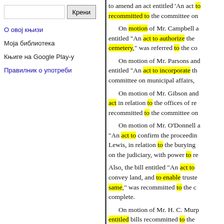О овој књизи
Моја библиотека
Књиге на Google Play-у
Правилник о употреби
to amend an act entitled 'An act recommitted to the committee on
On motion of Mr. Campbell an entitled "An act to authorize the cemetery," was referred to the co
On motion of Mr. Parsons and entitled "An act to incorporate th committee on municipal affairs,
On motion of Mr. Gibson and act in relation to the offices of re recommitted to the committee on
On motion of Mr. O'Donnell a "An act to confirm the proceedin Lewis, in relation to the burying on the judiciary, with power to r
Also, the bill entitled "An act to convey land, and to enable truste same," was recommitted to the c complete.
On motion of Mr. H. C. Murp entitled bills recommitted to the